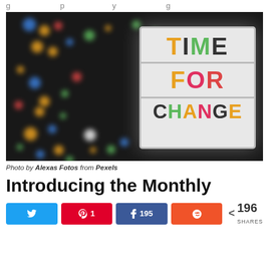g…p…y…g
[Figure (photo): A lightbox sign reading TIME FOR CHANGE in colorful letters, with bokeh lights in the background]
Photo by Alexas Fotos from Pexels
Introducing the Monthly
< 196 SHARES with social share buttons: Twitter, Pinterest (1), Facebook (195), Reddit